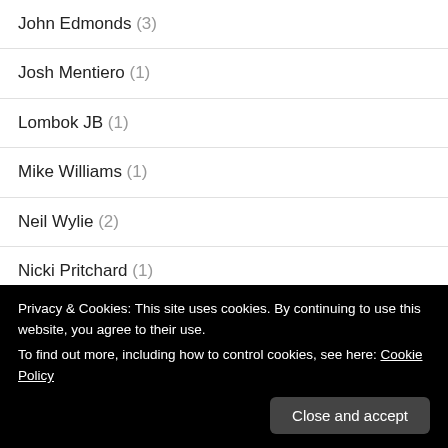John Edmonds (3)
Josh Mentiero (1)
Lombok JB (1)
Mike Williams (1)
Neil Wylie (2)
Nicki Pritchard (1)
Paul Burden (2)
Paul Donovan (107)
Privacy & Cookies: This site uses cookies. By continuing to use this website, you agree to their use. To find out more, including how to control cookies, see here: Cookie Policy
Phil Raine (2)